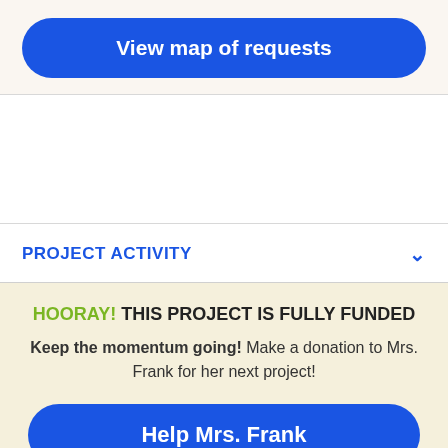View map of requests
PROJECT ACTIVITY
HOORAY! THIS PROJECT IS FULLY FUNDED
Keep the momentum going! Make a donation to Mrs. Frank for her next project!
Help Mrs. Frank